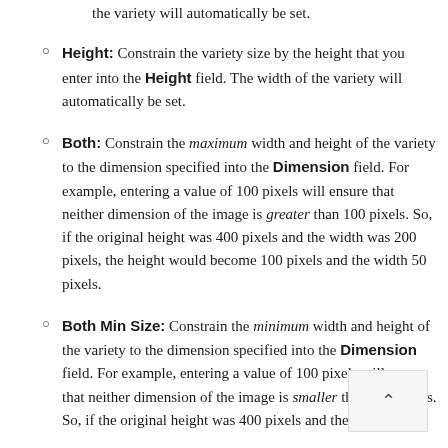the variety will automatically be set.
Height: Constrain the variety size by the height that you enter into the Height field. The width of the variety will automatically be set.
Both: Constrain the maximum width and height of the variety to the dimension specified into the Dimension field. For example, entering a value of 100 pixels will ensure that neither dimension of the image is greater than 100 pixels. So, if the original height was 400 pixels and the width was 200 pixels, the height would become 100 pixels and the width 50 pixels.
Both Min Size: Constrain the minimum width and height of the variety to the dimension specified into the Dimension field. For example, entering a value of 100 pixels will ensure that neither dimension of the image is smaller than 100 pixels. So, if the original height was 400 pixels and the